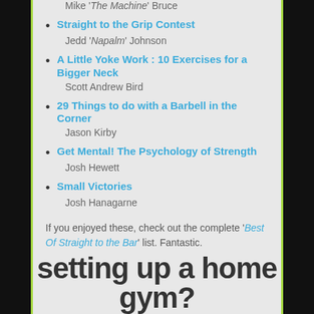Mike 'The Machine' Bruce
Straight to the Grip Contest — Jedd 'Napalm' Johnson
A Little Yoke Work : 10 Exercises for a Bigger Neck — Scott Andrew Bird
29 Things to do with a Barbell in the Corner — Jason Kirby
Get Mental! The Psychology of Strength — Josh Hewett
Small Victories — Josh Hanagarne
If you enjoyed these, check out the complete 'Best Of Straight to the Bar' list. Fantastic.
setting up a home gym?